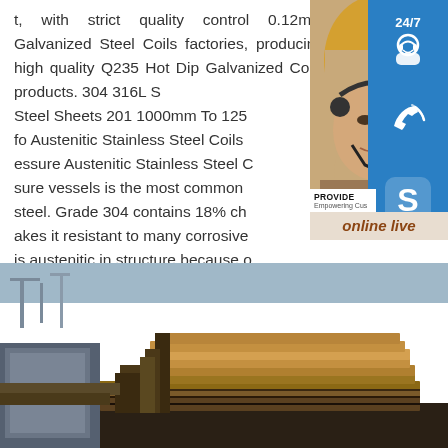t, with strict quality control 0.12mm Galvanized Steel Coils factories, producing high quality Q235 Hot Dip Galvanized Coils products. 304 316L Stainless Steel Sheets 201 1000mm To 1250mm Info Austenitic Stainless Steel Coils Pressure Austenitic Stainless Steel Coils sure vessels is the most common stainless steel. Grade 304 contains 18% chromium which makes it resistant to many corrosive is austenitic in structure because of the nickel it contains.
[Figure (screenshot): Customer service sidebar with 24/7 chat icon (blue box with headset icon), phone icon (blue box), Skype icon (blue box with S logo), woman wearing headset, PROVIDE Empowering Customers text, and online live button]
[Figure (photo): Stack of steel plates/sheets at an industrial facility, with cranes visible in the background]